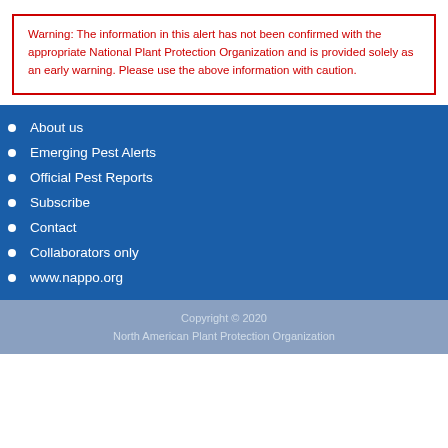Warning: The information in this alert has not been confirmed with the appropriate National Plant Protection Organization and is provided solely as an early warning. Please use the above information with caution.
About us
Emerging Pest Alerts
Official Pest Reports
Subscribe
Contact
Collaborators only
www.nappo.org
Copyright © 2020
North American Plant Protection Organization